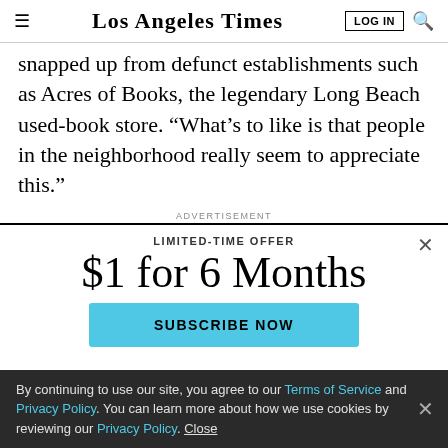Los Angeles Times | LOG IN | [search icon]
snapped up from defunct establishments such as Acres of Books, the legendary Long Beach used-book store. “What’s to like is that people in the neighborhood really seem to appreciate this.”
ADVERTISEMENT
[Figure (screenshot): Subscription modal: LIMITED-TIME OFFER heading, $1 for 6 Months price headline, SUBSCRIBE NOW button in teal/light blue, close X button]
By continuing to use our site, you agree to our Terms of Service and Privacy Policy. You can learn more about how we use cookies by reviewing our Privacy Policy. Close